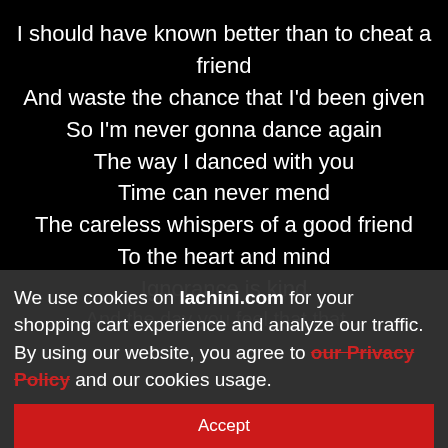I should have known better than to cheat a friend
And waste the chance that I'd been given
So I'm never gonna dance again
The way I danced with you

Time can never mend
The careless whispers of a good friend
To the heart and mind
Ignorance is kind
And the day you feel that that...
We use cookies on lachini.com for your shopping cart experience and analyze our traffic. By using our website, you agree to our Privacy Policy and our cookies usage.
Accept